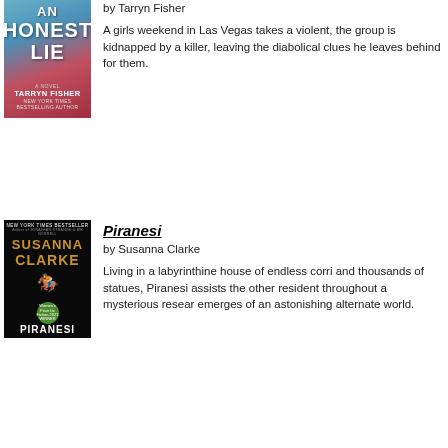[Figure (illustration): Book cover for 'An Honest Lie' by Tarryn Fisher — blue/red gradient with woman figure, large bold white text]
by Tarryn Fisher
A girls weekend in Las Vegas takes a violent, the group is kidnapped by a killer, leaving the diabolical clues he leaves behind for them.
[Figure (illustration): Book cover for 'Piranesi' by Susanna Clarke — black background with gold author name, white title, equestrian figure illustration]
Piranesi
by Susanna Clarke
Living in a labyrinthine house of endless corri and thousands of statues, Piranesi assists the other resident throughout a mysterious resear emerges of an astonishing alternate world.